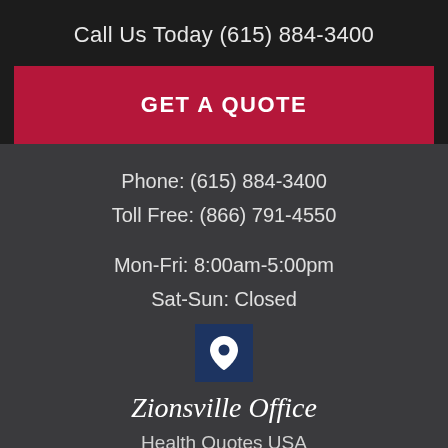Call Us Today (615) 884-3400
GET A QUOTE
Phone: (615) 884-3400
Toll Free: (866) 791-4550
Mon-Fri: 8:00am-5:00pm
Sat-Sun: Closed
[Figure (illustration): Location pin icon on dark blue square background]
Zionsville Office
Health Quotes USA
Zionsville, IN 46077